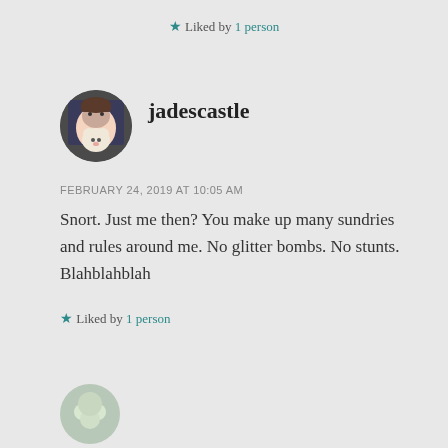★ Liked by 1 person
jadescastle
FEBRUARY 24, 2019 AT 10:05 AM
Snort. Just me then? You make up many sundries and rules around me. No glitter bombs. No stunts. Blahblahblah
★ Liked by 1 person